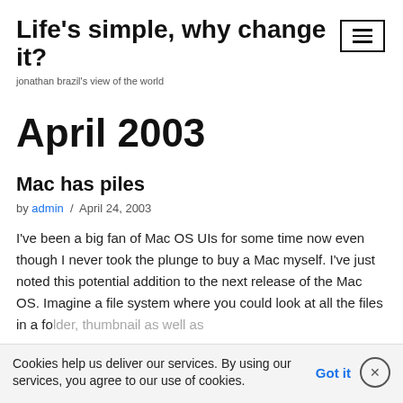Life's simple, why change it?
jonathan brazil's view of the world
April 2003
Mac has piles
by admin / April 24, 2003
I've been a big fan of Mac OS UIs for some time now even though I never took the plunge to buy a Mac myself. I've just noted this potential addition to the next release of the Mac OS. Imagine a file system where you could look at all the files in a folder, thumbnail as well as...
Cookies help us deliver our services. By using our services, you agree to our use of cookies.